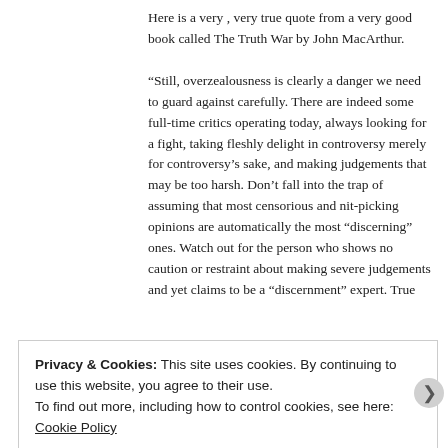Here is a very , very true quote from a very good book called The Truth War by John MacArthur.

“Still, overzealousness is clearly a danger we need to guard against carefully. There are indeed some full-time critics operating today, always looking for a fight, taking fleshly delight in controversy merely for controversy’s sake, and making judgements that may be too harsh. Don’t fall into the trap of assuming that most censorious and nit-picking opinions are automatically the most “discerning” ones. Watch out for the person who shows no caution or restraint about making severe judgements and yet claims to be a “discernment” expert. True
Privacy & Cookies: This site uses cookies. By continuing to use this website, you agree to their use.
To find out more, including how to control cookies, see here: Cookie Policy
Close and accept